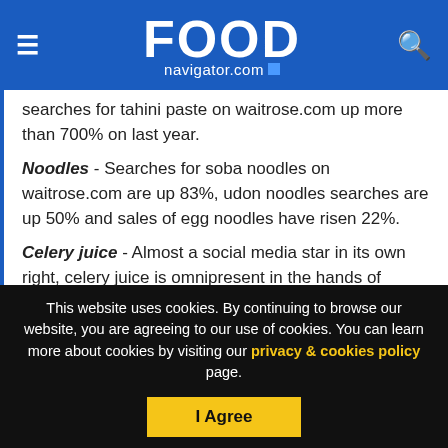FOOD navigator.com
searches for tahini paste on waitrose.com up more than 700% on last year.
Noodles - Searches for soba noodles on waitrose.com are up 83%, udon noodles searches are up 50% and sales of egg noodles have risen 22%.
Celery juice - Almost a social media star in its own right, celery juice is omnipresent in the hands of influencers. Sales of organic celery at Waitrose & Partners are up
This website uses cookies. By continuing to browse our website, you are agreeing to our use of cookies. You can learn more about cookies by visiting our privacy & cookies policy page.
I Agree